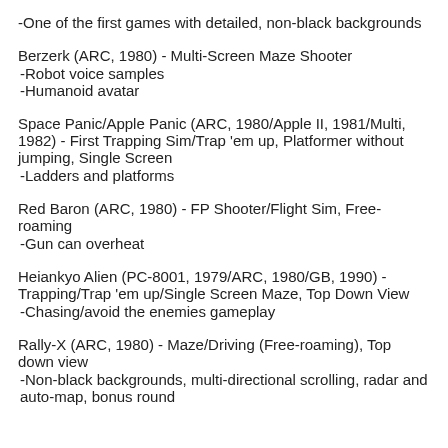-One of the first games with detailed, non-black backgrounds
Berzerk (ARC, 1980) - Multi-Screen Maze Shooter
-Robot voice samples
-Humanoid avatar
Space Panic/Apple Panic (ARC, 1980/Apple II, 1981/Multi, 1982) - First Trapping Sim/Trap 'em up, Platformer without jumping, Single Screen
-Ladders and platforms
Red Baron (ARC, 1980) - FP Shooter/Flight Sim, Free-roaming
-Gun can overheat
Heiankyo Alien (PC-8001, 1979/ARC, 1980/GB, 1990) - Trapping/Trap 'em up/Single Screen Maze, Top Down View
-Chasing/avoid the enemies gameplay
Rally-X (ARC, 1980) - Maze/Driving (Free-roaming), Top down view
-Non-black backgrounds, multi-directional scrolling, radar and auto-map, bonus round